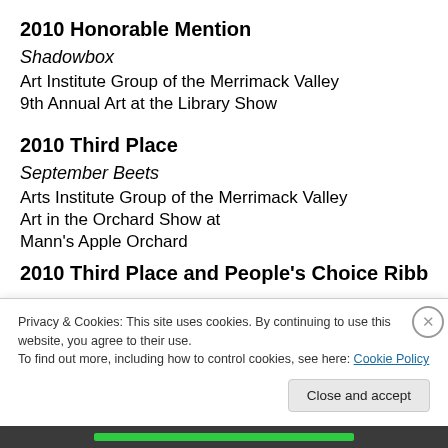2010 Honorable Mention
Shadowbox
Art Institute Group of the Merrimack Valley
9th Annual Art at the Library Show
2010 Third Place
September Beets
Arts Institute Group of the Merrimack Valley
Art in the Orchard Show at
Mann's Apple Orchard
2010 Third Place and People's Choice Ribbon
Privacy & Cookies: This site uses cookies. By continuing to use this website, you agree to their use.
To find out more, including how to control cookies, see here: Cookie Policy